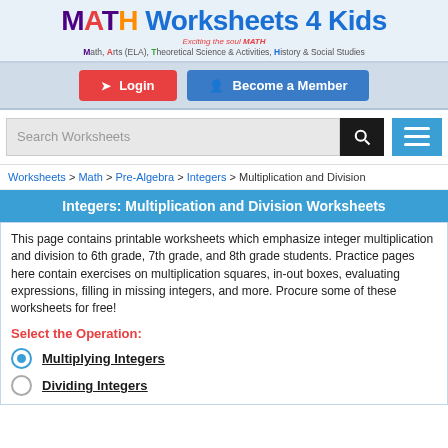MATH Worksheets 4 Kids — Exciting the soul MATH — Math, Arts (ELA), Theoretical Science & Activities, History & Social Studies
[Figure (screenshot): Login and Become a Member navigation buttons]
[Figure (screenshot): Search Worksheets search bar with search icon and menu icon]
Worksheets > Math > Pre-Algebra > Integers > Multiplication and Division
Integers: Multiplication and Division Worksheets
This page contains printable worksheets which emphasize integer multiplication and division to 6th grade, 7th grade, and 8th grade students. Practice pages here contain exercises on multiplication squares, in-out boxes, evaluating expressions, filling in missing integers, and more. Procure some of these worksheets for free!
Select the Operation:
Multiplying Integers
Dividing Integers